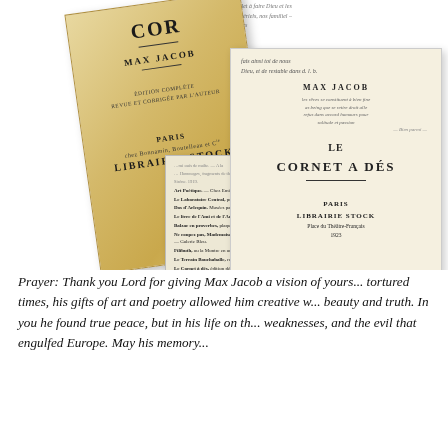[Figure (photo): Photograph of multiple copies of Max Jacob's 'Le Cornet à Dés' published by Librairie Stock, Paris — showing book covers, spines, and an open title page with handwritten inscriptions.]
Prayer: Thank you Lord for giving Max Jacob a vision of yours... tortured times, his gifts of art and poetry allowed him creative w... beauty and truth. In you he found true peace, but in his life on th... weaknesses, and the evil that engulfed Europe. May his memory...